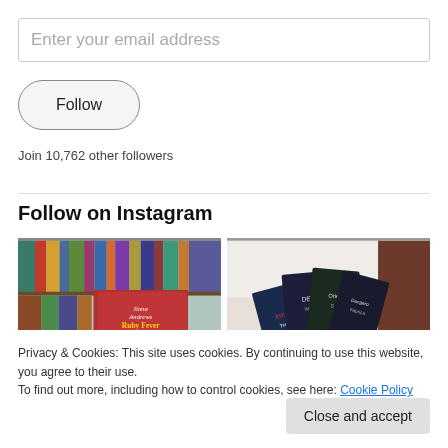Enter your email address
Follow
Join 10,762 other followers
Follow on Instagram
[Figure (photo): Two Instagram photos: left shows a bookshelf with colorful books and a Ruby Fever by Ilona Andrews book in front; right shows several dark-covered books fanned out on a white fluffy surface.]
Privacy & Cookies: This site uses cookies. By continuing to use this website, you agree to their use.
To find out more, including how to control cookies, see here: Cookie Policy
Close and accept